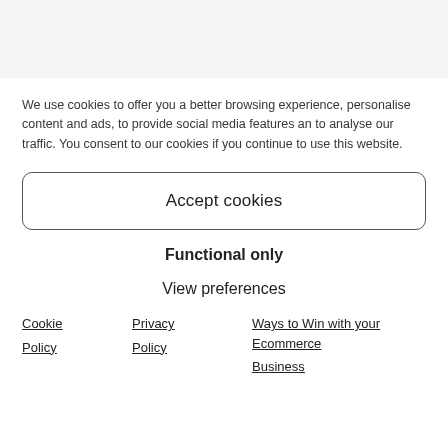We use cookies to offer you a better browsing experience, personalise content and ads, to provide social media features an to analyse our traffic. You consent to our cookies if you continue to use this website.
Accept cookies
Functional only
View preferences
Cookie Policy
Privacy Policy
Ways to Win with your Ecommerce Business